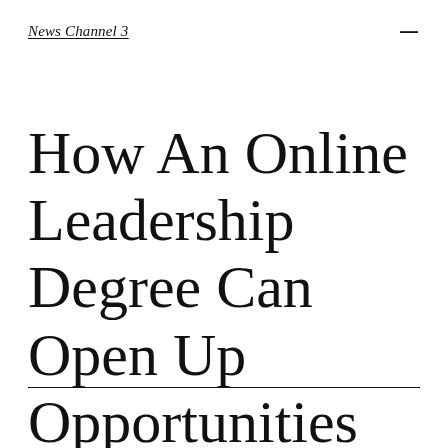News Channel 3
How An Online Leadership Degree Can Open Up Opportunities